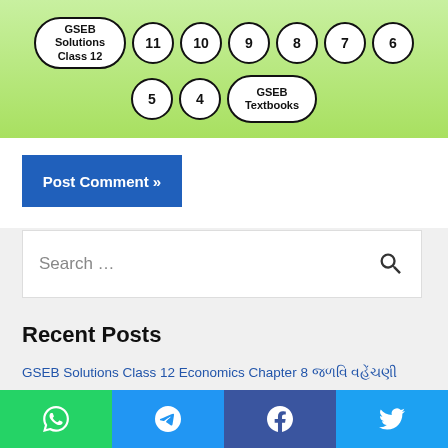[Figure (other): Navigation header with GSEB Solutions Class 12 and class numbers 11,10,9,8,7,6,5,4 and GSEB Textbooks as oval/circle buttons on green background]
Post Comment »
Search …
Recent Posts
GSEB Solutions Class 12 Economics Chapter 8 [Gujarati text]
GSEB Solutions Class 12 Economics Chapter 7 [Gujarati text]
GSEB Solutions Class 12 Economics Chapter 6 [Gujarati text]
[Figure (other): Social share bar with WhatsApp, Telegram, Facebook, Twitter buttons]